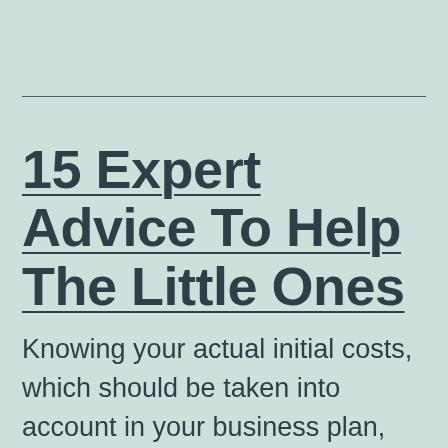15 Expert Advice To Help The Little Ones
Knowing your actual initial costs, which should be taken into account in your business plan, can be important when looking for funding. Small business owners who adopt customer service as a business-wide philosophy tend to